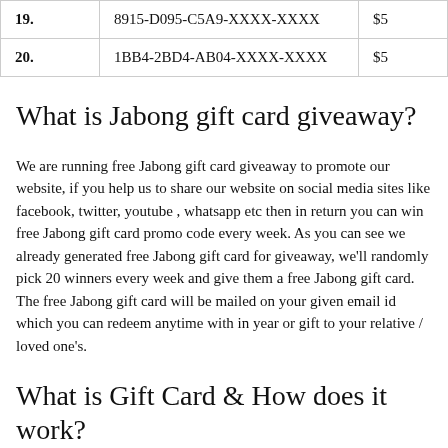| # | Code | Value |
| --- | --- | --- |
| 19. | 8915-D095-C5A9-XXXX-XXXX | $5 |
| 20. | 1BB4-2BD4-AB04-XXXX-XXXX | $5 |
What is Jabong gift card giveaway?
We are running free Jabong gift card giveaway to promote our website, if you help us to share our website on social media sites like facebook, twitter, youtube , whatsapp etc then in return you can win free Jabong gift card promo code every week. As you can see we already generated free Jabong gift card for giveaway, we'll randomly pick 20 winners every week and give them a free Jabong gift card. The free Jabong gift card will be mailed on your given email id which you can redeem anytime with in year or gift to your relative / loved one's.
What is Gift Card & How does it work?